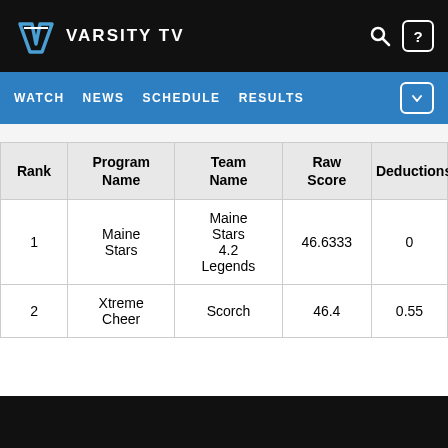VARSITY TV
WATCH  NEWS  SCHEDULE  RESULTS
| Rank | Program Name | Team Name | Raw Score | Deductions |
| --- | --- | --- | --- | --- |
| 1 | Maine Stars | Maine Stars 4.2 Legends | 46.6333 | 0 |
| 2 | Xtreme Cheer | Scorch | 46.4 | 0.55 |